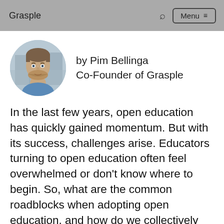Grasple   Menu
[Figure (photo): Circular portrait photo of Pim Bellinga, a man with short hair and beard wearing a denim shirt, with a building in the background.]
by Pim Bellinga
Co-Founder of Grasple
In the last few years, open education has quickly gained momentum. But with its success, challenges arise. Educators turning to open education often feel overwhelmed or don't know where to begin. So, what are the common roadblocks when adopting open education, and how do we collectively